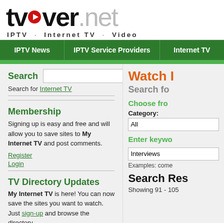[Figure (logo): tvover.net logo with red play button icon, bold black TV and ver text, gray .net text]
IPTV · Internet TV · Video
IPTV News | IPTV Service Providers | Internet TV
Search  [input]  [Search button]
Search for Internet TV
Membership
Signing up is easy and free and will allow you to save sites to My Internet TV and post comments.
Register
Login
TV Directory Updates
My Internet TV is here! You can now save the sites you want to watch. Just sign-up and browse the directory
Watch I...
Search fo...
Choose fro...
Category:
All
Enter keywo...
Interviews
Examples: come...
Search Res...
Showing 91 - 105...